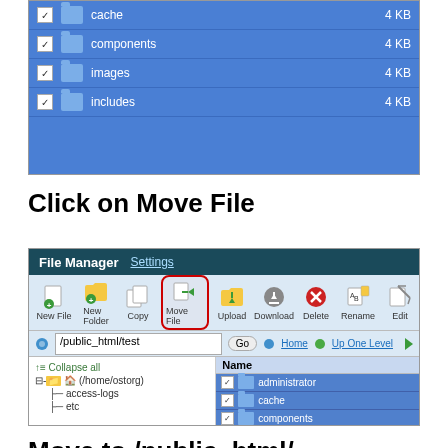[Figure (screenshot): Partial file manager screenshot showing file listing with checkboxes. Rows include: cache (4 KB), components (4 KB), images (4 KB), includes (4 KB). Blue background with white folder icons and checkboxes.]
Click on Move File
[Figure (screenshot): File Manager screenshot showing toolbar with New File, New Folder, Copy, Move File (highlighted with red border), Upload, Download, Delete, Rename, Edit buttons. Path bar shows /public_html/test with Go button. Left panel shows tree: Collapse all, (/home/ostorg), access-logs, etc. Right panel shows Name column with administrator, cache, components listed with blue highlight and checkboxes.]
Move to /public_html/